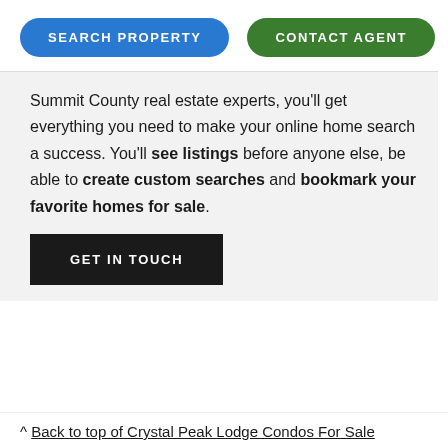SEARCH PROPERTY
CONTACT AGENT
Summit County real estate experts, you'll get everything you need to make your online home search a success. You'll see listings before anyone else, be able to create custom searches and bookmark your favorite homes for sale.
GET IN TOUCH
^ Back to top of Crystal Peak Lodge Condos For Sale